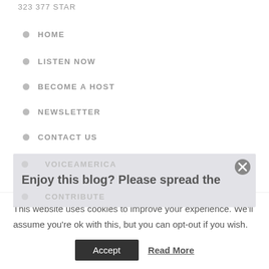323 377 STAR
HOME
LISTEN NOW
BECOME A HOST
NEWSLETTER
CONTACT US
VOICEAMERICA
CONTRIBUTE
Enjoy this blog? Please spread the
This website uses cookies to improve your experience. We'll assume you're ok with this, but you can opt-out if you wish.
Accept
Read More